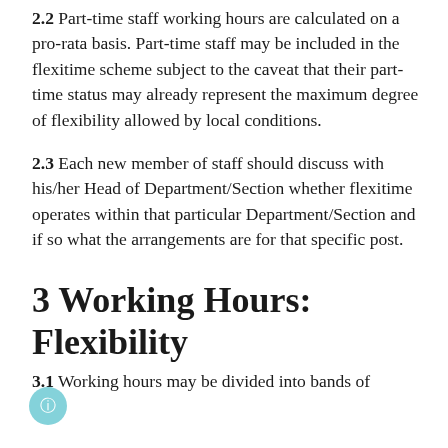2.2 Part-time staff working hours are calculated on a pro-rata basis. Part-time staff may be included in the flexitime scheme subject to the caveat that their part-time status may already represent the maximum degree of flexibility allowed by local conditions.
2.3 Each new member of staff should discuss with his/her Head of Department/Section whether flexitime operates within that particular Department/Section and if so what the arrangements are for that specific post.
3 Working Hours: Flexibility
3.1 Working hours may be divided into bands of